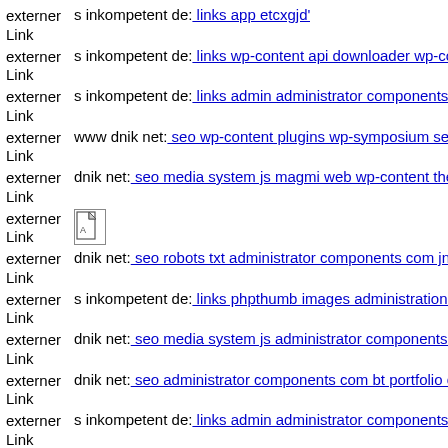externer Link  s inkompetent de: links app etcxgjd'
externer Link  s inkompetent de: links wp-content api downloader wp-con
externer Link  s inkompetent de: links admin administrator components co
externer Link  www dnik net: seo wp-content plugins wp-symposium serv
externer Link  dnik net: seo media system js magmi web wp-content theme
externer Link  [icon]
externer Link  dnik net: seo robots txt administrator components com jnew
externer Link  s inkompetent de: links phpthumb images administration m
externer Link  dnik net: seo media system js administrator components co
externer Link  dnik net: seo administrator components com bt portfolio co
externer Link  s inkompetent de: links admin administrator components co